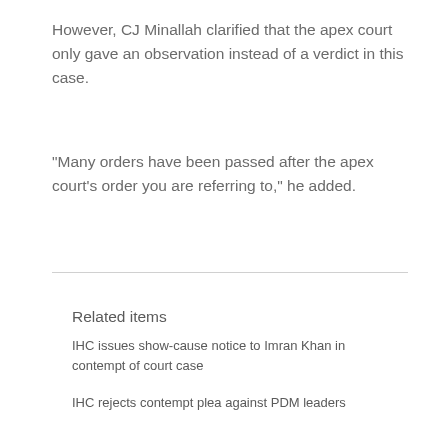However, CJ Minallah clarified that the apex court only gave an observation instead of a verdict in this case.
"Many orders have been passed after the apex court's order you are referring to," he added.
Related items
IHC issues show-cause notice to Imran Khan in contempt of court case
IHC rejects contempt plea against PDM leaders